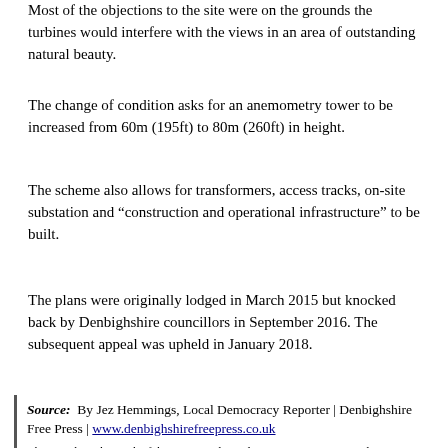Most of the objections to the site were on the grounds the turbines would interfere with the views in an area of outstanding natural beauty.
The change of condition asks for an anemometry tower to be increased from 60m (195ft) to 80m (260ft) in height.
The scheme also allows for transformers, access tracks, on-site substation and “construction and operational infrastructure” to be built.
The plans were originally lodged in March 2015 but knocked back by Denbighshire councillors in September 2016. The subsequent appeal was upheld in January 2018.
Source: By Jez Hemmings, Local Democracy Reporter | Denbighshire Free Press | www.denbighshirefreepress.co.uk
This article is the work of the source indicated. Any opinions expressed in it are not necessarily those of National Wind Watch.
The copyright of this article resides with the author or publisher indicated. As part of its noncommercial effort to present the environmental, social, scientific, and economic issues of large-scale wind power development to a global audience seeking such information, National Wind Watch endeavors to observe “fair use” as